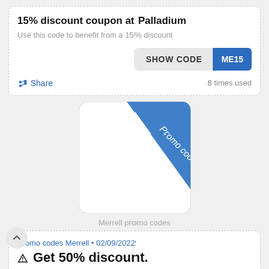15% discount coupon at Palladium
Use this code to benefit from a 15% discount
SHOW CODE  ME15
Share   8 times used
[Figure (illustration): A white rounded rectangle card with a blue diagonal ribbon/stripe in the upper-right corner labeled 'Promo code' in white italic text]
Merrell promo codes
Promo codes Merrell • 02/09/2022
Get 50% discount.
Redeem the Merrell coupon and get 50% discount